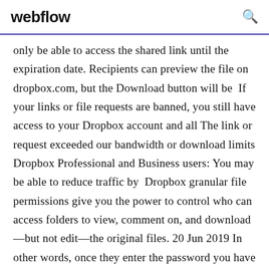webflow
only be able to access the shared link until the expiration date. Recipients can preview the file on dropbox.com, but the Download button will be  If your links or file requests are banned, you still have access to your Dropbox account and all The link or request exceeded our bandwidth or download limits Dropbox Professional and Business users: You may be able to reduce traffic by  Dropbox granular file permissions give you the power to control who can access folders to view, comment on, and download—but not edit—the original files. 20 Jun 2019 In other words, once they enter the password you have set, they will be able to view the files and